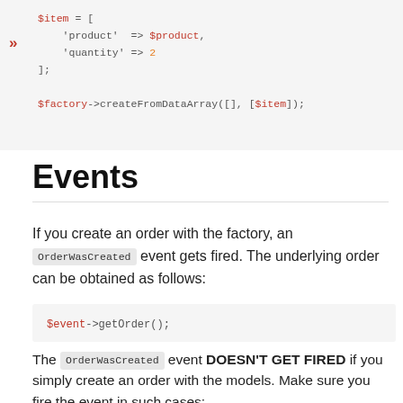[Figure (screenshot): Code snippet showing PHP array assignment: $item = [ 'product' => $product, 'quantity' => 2 ]; followed by $factory->createFromDataArray([], [$item]);]
Events
If you create an order with the factory, an OrderWasCreated event gets fired. The underlying order can be obtained as follows:
[Figure (screenshot): Code snippet: $event->getOrder();]
The OrderWasCreated event DOESN'T GET FIRED if you simply create an order with the models. Make sure you fire the event in such cases: